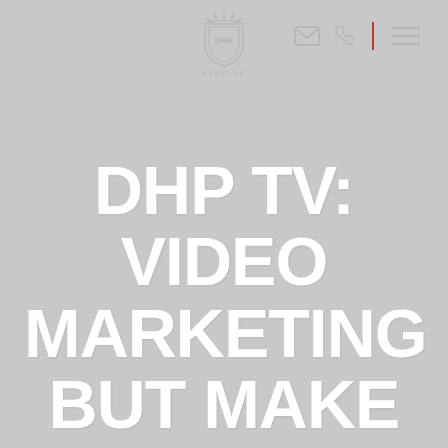[Figure (logo): DHP Studios shield/crest logo with crown at top and DHP letters inside, with STUDIOS text below]
[Figure (infographic): Navigation bar icons: envelope (email), phone, red vertical divider, hamburger menu — all in light gray]
DHP TV: VIDEO MARKETING BUT MAKE IT SEXY